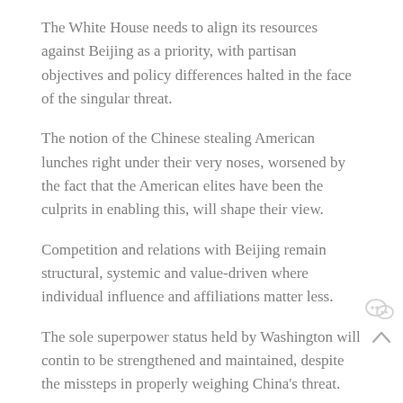The White House needs to align its resources against Beijing as a priority, with partisan objectives and policy differences halted in the face of the singular threat.
The notion of the Chinese stealing American lunches right under their very noses, worsened by the fact that the American elites have been the culprits in enabling this, will shape their view.
Competition and relations with Beijing remain structural, systemic and value-driven where individual influence and affiliations matter less.
The sole superpower status held by Washington will contin to be strengthened and maintained, despite the missteps in properly weighing China's threat.
Beijing's no hold barred impetus in narrowing the existing power gap by repelling Western and external containment